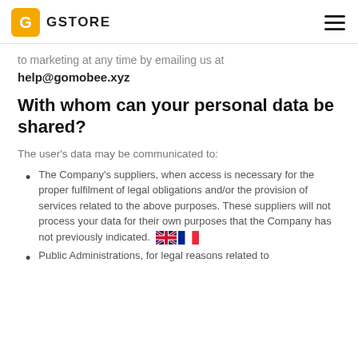GSTORE
to marketing at any time by emailing us at
help@gomobee.xyz
With whom can your personal data be shared?
The user's data may be communicated to:
The Company's suppliers, when access is necessary for the proper fulfilment of legal obligations and/or the provision of services related to the above purposes. These suppliers will not process your data for their own purposes that the Company has not previously indicated.
Public Administrations, for legal reasons related to